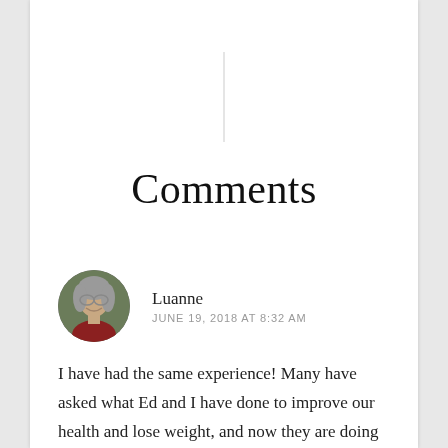Comments
[Figure (photo): Circular avatar photo of a woman with gray hair and glasses, smiling]
Luanne
JUNE 19, 2018 AT 8:32 AM
I have had the same experience! Many have asked what Ed and I have done to improve our health and lose weight, and now they are doing it too! Did you know that St. Jade is in Manile is a communist data specialist and